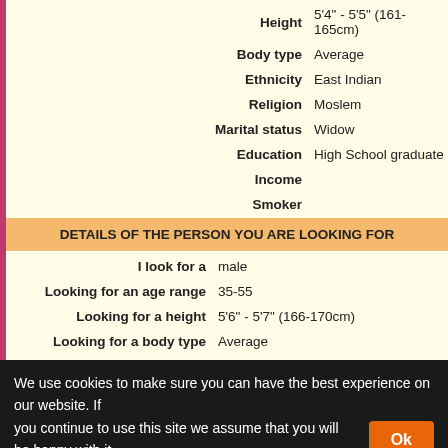| Field | Value |
| --- | --- |
| Height | 5'4" - 5'5" (161-165cm) |
| Body type | Average |
| Ethnicity | East Indian |
| Religion | Moslem |
| Marital status | Widow |
| Education | High School graduate |
| Income |  |
| Smoker |  |
| Drinker | No |
DETAILS OF THE PERSON YOU ARE LOOKING FOR
| Field | Value |
| --- | --- |
| I look for a | male |
| Looking for an age range | 35-55 |
| Looking for a height | 5'6" - 5'7" (166-170cm) |
| Looking for a body type | Average |
| Relationship | Friendship, Marriage, Relationship, Romance |
DESCRIPTION:
to create a family in a relationship is the main reciprocity .. 🙂 I do not tolerate rudeness and anger, if you are kind and lonely, then
We use cookies to make sure you can have the best experience on our website. If you continue to use this site we assume that you will be happy with it.